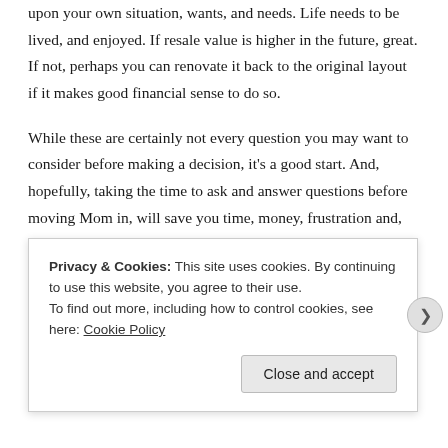upon your own situation, wants, and needs. Life needs to be lived, and enjoyed. If resale value is higher in the future, great. If not, perhaps you can renovate it back to the original layout if it makes good financial sense to do so.
While these are certainly not every question you may want to consider before making a decision, it's a good start. And, hopefully, taking the time to ask and answer questions before moving Mom in, will save you time, money, frustration and, most importantly, your relationships.
We helped several customers over the years who
Privacy & Cookies: This site uses cookies. By continuing to use this website, you agree to their use.
To find out more, including how to control cookies, see here: Cookie Policy
Close and accept